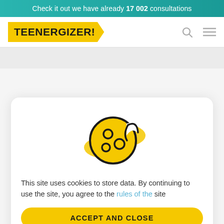Check it out we have already 17 002 consultations
[Figure (logo): Teenergizer! logo in yellow banner with arrow shape]
[Figure (illustration): Cookie icon with yellow background blobs — a cartoon bitten cookie with chocolate chip holes]
This site uses cookies to store data. By continuing to use the site, you agree to the rules of the site
ACCEPT AND CLOSE